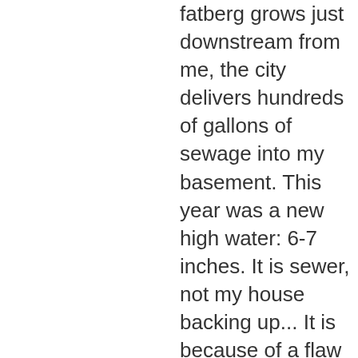fatberg grows just downstream from me, the city delivers hundreds of gallons of sewage into my basement. This year was a new high water: 6-7 inches. It is sewer, not my house backing up... It is because of a flaw in the connections just downstream